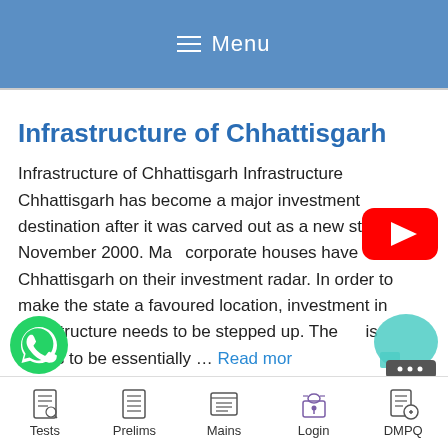Menu
Infrastructure of Chhattisgarh
Infrastructure of Chhattisgarh Infrastructure Chhattisgarh has become a major investment destination after it was carved out as a new state in November 2000. Ma... corporate houses have Chhattisgarh on their investment radar. In order to make the state a favoured location, investment in infrastructure needs to be stepped up. The is needs to be essentially … Read more
[Figure (logo): YouTube play button red logo]
[Figure (logo): WhatsApp green phone logo]
[Figure (logo): Chat bubble with ellipsis icon]
Tests  Prelims  Mains  Login  DMPQ